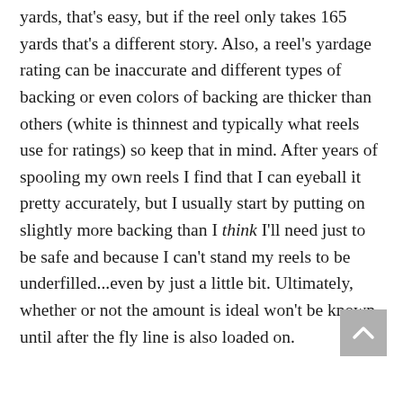yards, that's easy, but if the reel only takes 165 yards that's a different story. Also, a reel's yardage rating can be inaccurate and different types of backing or even colors of backing are thicker than others (white is thinnest and typically what reels use for ratings) so keep that in mind. After years of spooling my own reels I find that I can eyeball it pretty accurately, but I usually start by putting on slightly more backing than I think I'll need just to be safe and because I can't stand my reels to be underfilled...even by just a little bit. Ultimately, whether or not the amount is ideal won't be known until after the fly line is also loaded on.